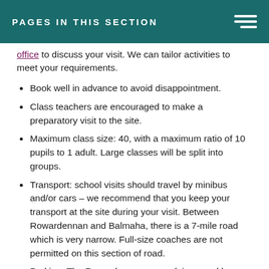PAGES IN THIS SECTION
office to discuss your visit. We can tailor activities to meet your requirements.
Book well in advance to avoid disappointment.
Class teachers are encouraged to make a preparatory visit to the site.
Maximum class size: 40, with a maximum ratio of 10 pupils to 1 adult. Large classes will be split into groups.
Transport: school visits should travel by minibus and/or cars – we recommend that you keep your transport at the site during your visit. Between Rowardennan and Balmaha, there is a 7-mile road which is very narrow. Full-size coaches are not permitted on this section of road.
Parking: The Rowardennan car park is owned by Forestry Commission Scotland – there may be a